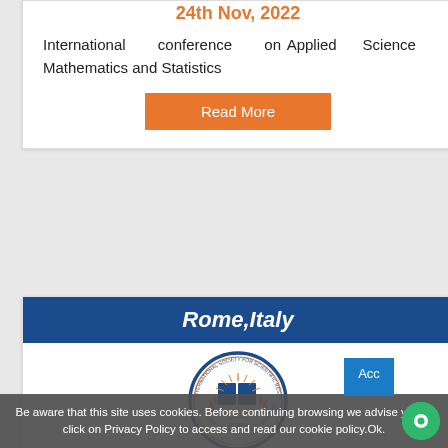24th Nov, 2022
International conference on Applied Science Mathematics and Statistics
Read More
Rome,Italy
[Figure (logo): Circular logo of International Society for Scientific Research and Development (ISSRD) showing an open book with rays and laurel wreath]
24th Nov, 2022
International Conference on
Be aware that this site uses cookies. Before continuing browsing we advise you to click on Privacy Policy to access and read our cookie policy.Ok.